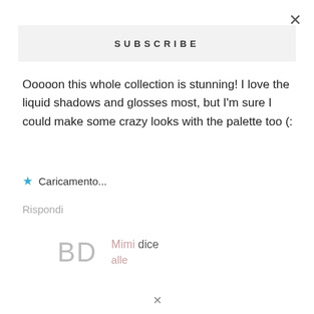×
SUBSCRIBE
Ooooon this whole collection is stunning! I love the liquid shadows and glosses most, but I'm sure I could make some crazy looks with the palette too (:
★ Caricamento...
Rispondi
BD  Mimi dice
alle
×